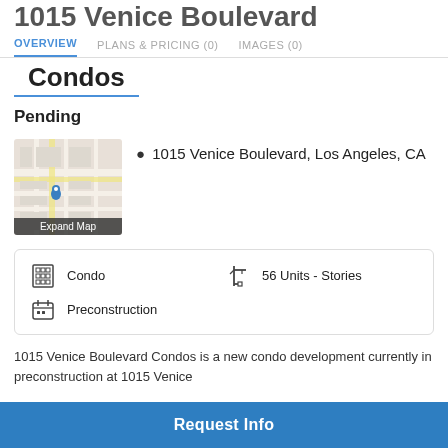1015 Venice Boulevard Condos
OVERVIEW  |  PLANS & PRICING (0)  |  IMAGES (0)
Pending
[Figure (map): Street map showing location of 1015 Venice Boulevard, Los Angeles, CA with a blue pin marker and Expand Map label]
1015 Venice Boulevard, Los Angeles, CA
Condo   56 Units - Stories   Preconstruction
1015 Venice Boulevard Condos is a new condo development currently in preconstruction at 1015 Venice